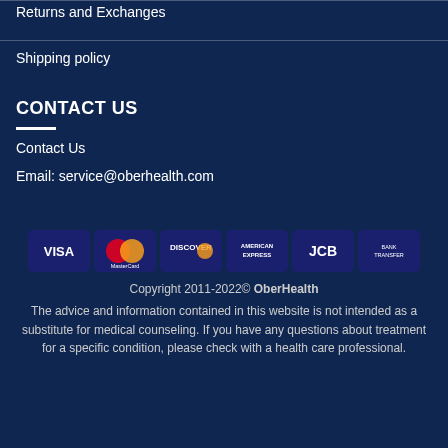Returns and Exchanges
Shipping policy
CONTACT US
Contact Us
Email: service@oberhealth.com
[Figure (other): Payment method icons: VISA, MasterCard, Discover, American Express, JCB, Bank Transfer]
Copyright 2011-2022© OberHealth
The advice and information contained in this website is not intended as a substitute for medical counseling. If you have any questions about treatment for a specific condition, please check with a health care professional.